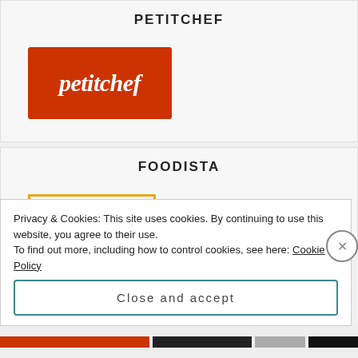PETITCHEF
[Figure (logo): Petitchef logo: red/brown background with italic white text 'petitchef']
FOODISTA
[Figure (logo): Foodista logo: yellow-orange border with 'Foodista' text in orange, with an apple icon replacing the second 'o']
Privacy & Cookies: This site uses cookies. By continuing to use this website, you agree to their use.
To find out more, including how to control cookies, see here: Cookie Policy
Close and accept